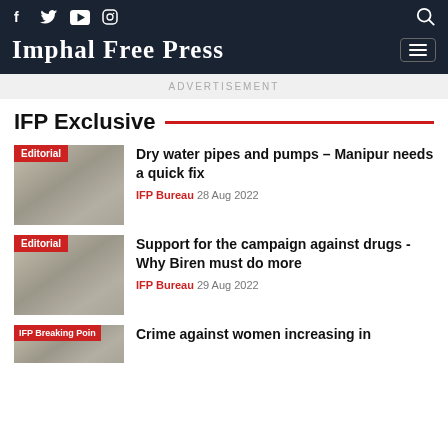Imphal Free Press
ADVERTISEMENT
IFP Exclusive
[Figure (photo): Thumbnail image with Editorial badge]
Dry water pipes and pumps – Manipur needs a quick fix
IFP Bureau  28 Aug 2022
[Figure (photo): Thumbnail image with Editorial badge]
Support for the campaign against drugs - Why Biren must do more
IFP Bureau  29 Aug 2022
[Figure (photo): Thumbnail image with IFP Breaking Point badge]
Crime against women increasing in